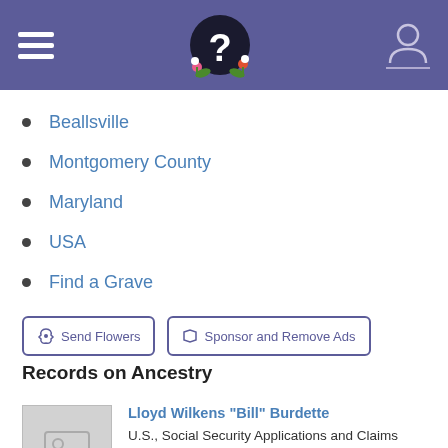Find a Grave header with logo
Beallsville
Montgomery County
Maryland
USA
Find a Grave
Send Flowers | Sponsor and Remove Ads
Records on Ancestry
[Figure (other): Record card with placeholder image thumbnail for Lloyd Wilkens 'Bill' Burdette, U.S., Social Security Applications and Claims Index, 1936-2007]
[Figure (other): Record card with document image thumbnail for Lloyd Wilkens 'Bill' Burdette, 1930 United States Federal Census]